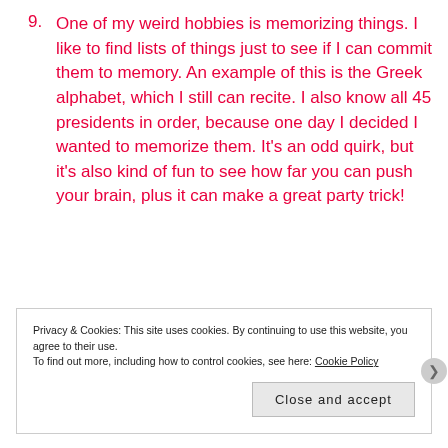9. One of my weird hobbies is memorizing things. I like to find lists of things just to see if I can commit them to memory. An example of this is the Greek alphabet, which I still can recite. I also know all 45 presidents in order, because one day I decided I wanted to memorize them. It's an odd quirk, but it's also kind of fun to see how far you can push your brain, plus it can make a great party trick!
Privacy & Cookies: This site uses cookies. By continuing to use this website, you agree to their use.
To find out more, including how to control cookies, see here: Cookie Policy
Close and accept